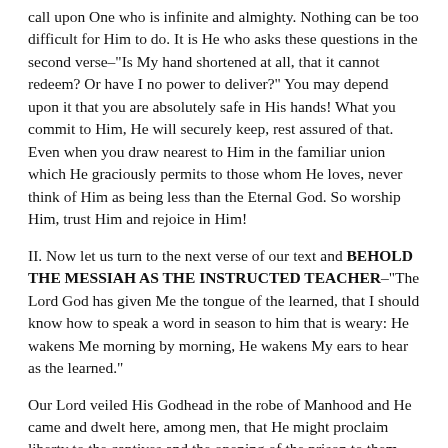call upon One who is infinite and almighty. Nothing can be too difficult for Him to do. It is He who asks these questions in the second verse–"Is My hand shortened at all, that it cannot redeem? Or have I no power to deliver?" You may depend upon it that you are absolutely safe in His hands! What you commit to Him, He will securely keep, rest assured of that. Even when you draw nearest to Him in the familiar union which He graciously permits to those whom He loves, never think of Him as being less than the Eternal God. So worship Him, trust Him and rejoice in Him!
II. Now let us turn to the next verse of our text and BEHOLD THE MESSIAH AS THE INSTRUCTED TEACHER–"The Lord God has given Me the tongue of the learned, that I should know how to speak a word in season to him that is weary: He wakens Me morning by morning, He wakens My ears to hear as the learned."
Our Lord veiled His Godhead in the robe of Manhood and He came and dwelt here, among men, that He might proclaim liberty to the captives and the opening of the prison to them that were bound. He came in fact as it was foretold concerning Him, that He might save His people from their sins. But before He began to teach, it was necessary that, as Man, He should be prepared for His work. I call your special attention to the condescension of our Lord in coming here on purpose to care for the weak–to speak